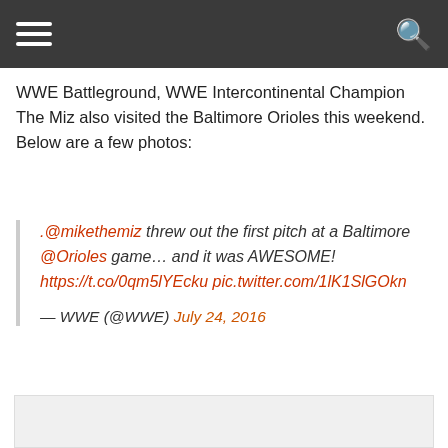≡   🔍
WWE Battleground, WWE Intercontinental Champion The Miz also visited the Baltimore Orioles this weekend. Below are a few photos:
.@mikethemiz threw out the first pitch at a Baltimore @Orioles game… and it was AWESOME! https://t.co/0qm5lYEcku pic.twitter.com/1lK1SlGOkn

— WWE (@WWE) July 24, 2016
[Figure (photo): Embedded image placeholder (light gray box)]